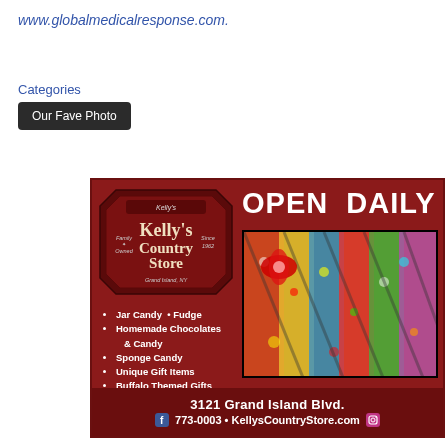www.globalmedicalresponse.com.
Categories
Our Fave Photo
[Figure (illustration): Kelly's Country Store advertisement. Dark red background. Logo with Kelly's Country Store, Family Owned Since 1962. Text: OPEN DAILY. Photo of colorful candy. Bullet list: Jar Candy, Fudge, Homemade Chocolates & Candy, Sponge Candy, Unique Gift Items, Buffalo Themed Gifts, Candles. Address: 3121 Grand Island Blvd. Contact: 773-0003 • KellysCountryStore.com]